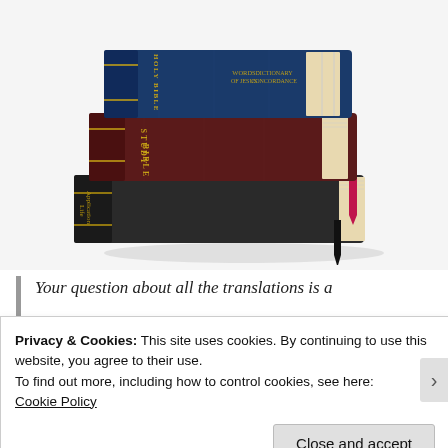[Figure (photo): Three stacked Bibles: top is a blue Holy Bible, middle is a dark red Study Bible, bottom is a black Life Application Study Bible. Books have bookmarks and cream-colored pages visible on the right side.]
Your question about all the translations is a
Privacy & Cookies: This site uses cookies. By continuing to use this website, you agree to their use.
To find out more, including how to control cookies, see here:
Cookie Policy
Close and accept